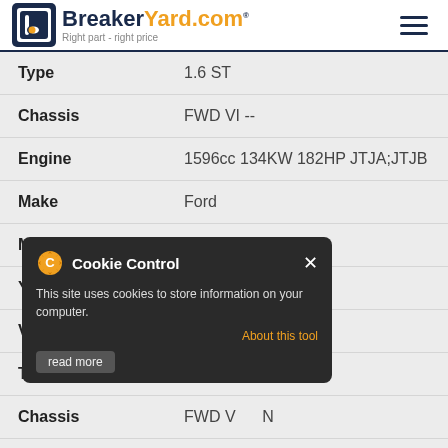BreakerYard.com - Right part - right price
| Field | Value |
| --- | --- |
| Type | 1.6 ST |
| Chassis | FWD VI -- |
| Engine | 1596cc 134KW 182HP JTJA;JTJB |
| Make | Ford |
| Model | Fiesta |
| Year | 2014 |
| Variant | [obscured] Hatchback |
| Type |  |
| Chassis | FWD V[obscured]N |
| Engine | 1499cc 82KW 111HP EB15 |
[Figure (screenshot): Cookie Control popup overlay with title 'Cookie Control', text 'This site uses cookies to store information on your computer.', an orange 'About this tool' link, and a 'read more' button.]